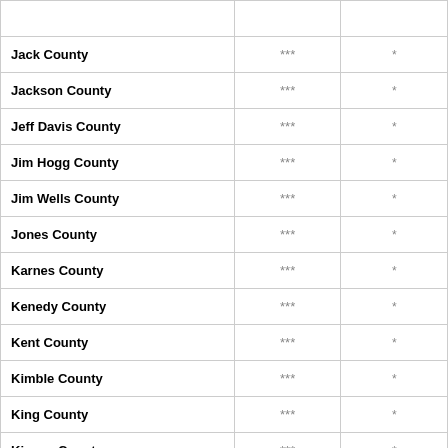| Jack County | *** | * |
| Jackson County | *** | * |
| Jeff Davis County | *** | * |
| Jim Hogg County | *** | * |
| Jim Wells County | *** | * |
| Jones County | *** | * |
| Karnes County | *** | * |
| Kenedy County | *** | * |
| Kent County | *** | * |
| Kimble County | *** | * |
| King County | *** | * |
| Kinney County | *** | * |
| Knox County | *** | * |
| La Salle County | *** | * |
| Lee County | *** | * |
| Leon County | *** | * |
| Lipscomb County | *** | * |